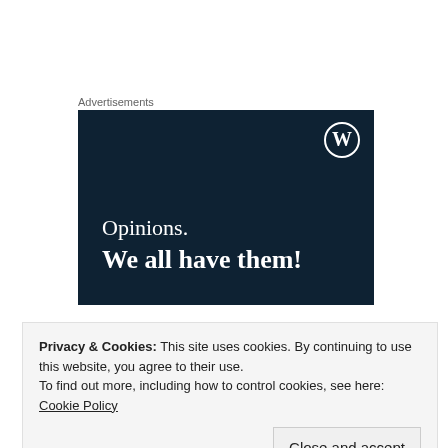Advertisements
[Figure (illustration): Dark navy blue advertisement banner with WordPress logo in top right corner. Text reads: 'Opinions. We all have them!' in white serif font on dark background.]
Privacy & Cookies: This site uses cookies. By continuing to use this website, you agree to their use.
To find out more, including how to control cookies, see here: Cookie Policy
Close and accept